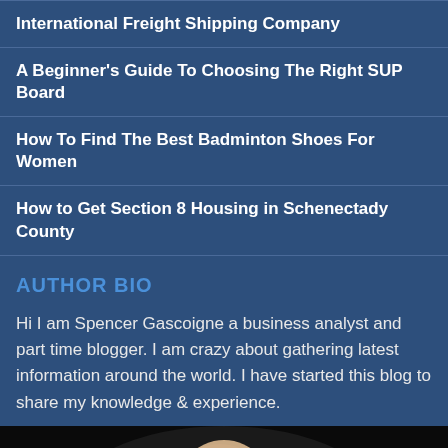International Freight Shipping Company
A Beginner's Guide To Choosing The Right SUP Board
How To Find The Best Badminton Shoes For Women
How to Get Section 8 Housing in Schenectady County
AUTHOR BIO
Hi I am Spencer Gascoigne a business analyst and part time blogger. I am crazy about gathering latest information around the world. I have started this blog to share my knowledge & experience.
[Figure (photo): Portrait photo of Spencer Gascoigne, a bald man wearing round glasses, photographed against a dark background]